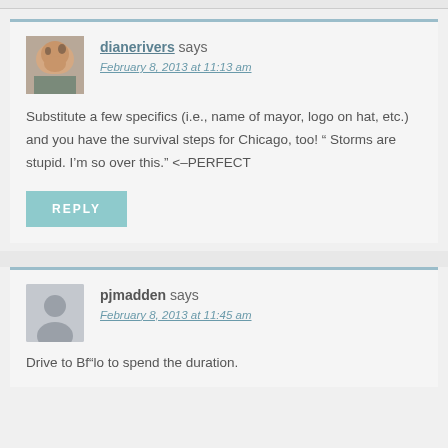dianerivers says
February 8, 2013 at 11:13 am
Substitute a few specifics (i.e., name of mayor, logo on hat, etc.) and you have the survival steps for Chicago, too! " Storms are stupid. I'm so over this." <–PERFECT
REPLY
pjmadden says
February 8, 2013 at 11:45 am
Drive to Bf"lo to spend the duration.